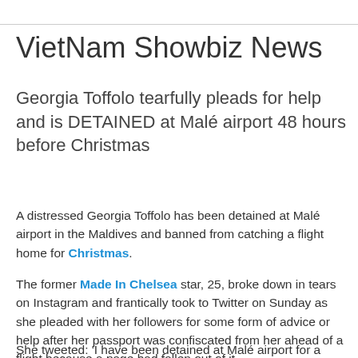VietNam Showbiz News
Georgia Toffolo tearfully pleads for help and is DETAINED at Malé airport 48 hours before Christmas
A distressed Georgia Toffolo has been detained at Malé airport in the Maldives and banned from catching a flight home for Christmas.
The former Made In Chelsea star, 25, broke down in tears on Instagram and frantically took to Twitter on Sunday as she pleaded with her followers for some form of advice or help after her passport was confiscated from her ahead of a flight because a page had fallen out of it.
She tweeted: 'I have been detained at Malé airport for a page missing on my passport. I am very scared I don't know